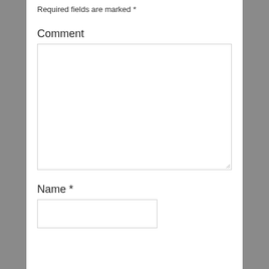Required fields are marked *
Comment
[Figure (other): Large empty text area input field for comment entry, with resize handle at bottom-right corner]
Name *
[Figure (other): Smaller empty text input field for name entry]